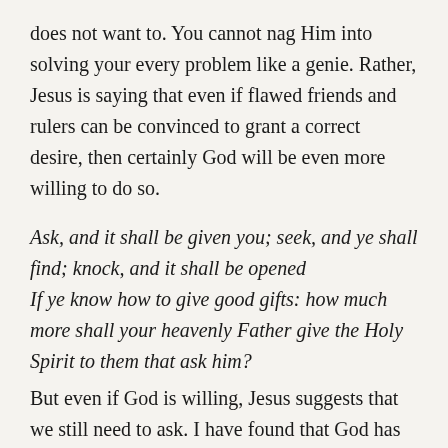does not want to. You cannot nag Him into solving your every problem like a genie. Rather, Jesus is saying that even if flawed friends and rulers can be convinced to grant a correct desire, then certainly God will be even more willing to do so.
Ask, and it shall be given you; seek, and ye shall find; knock, and it shall be opened
If ye know how to give good gifts: how much more shall your heavenly Father give the Holy Spirit to them that ask him?
But even if God is willing, Jesus suggests that we still need to ask. I have found that God has had many spiritual blessings that He was ready to give me, but